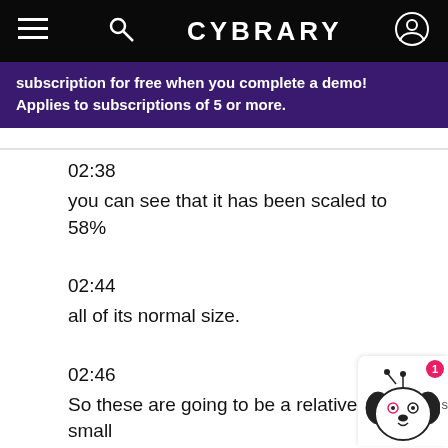CYBRARY
subscription for free when you complete a demo! Applies to subscriptions of 5 or more.
02:38
you can see that it has been scaled to 58%
02:44
all of its normal size.
02:46
So these are going to be a relatively small letters.
02:50